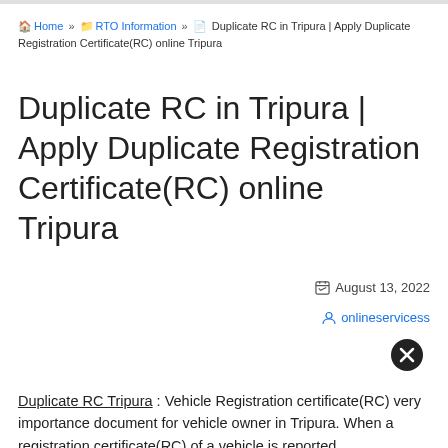Home » RTO Information » Duplicate RC in Tripura | Apply Duplicate Registration Certificate(RC) online Tripura
Duplicate RC in Tripura | Apply Duplicate Registration Certificate(RC) online Tripura
August 13, 2022
onlineservicess
Duplicate RC Tripura : Vehicle Registration certificate(RC) very importance document for vehicle owner in Tripura. When a registration certificate(RC) of a vehicle is reported